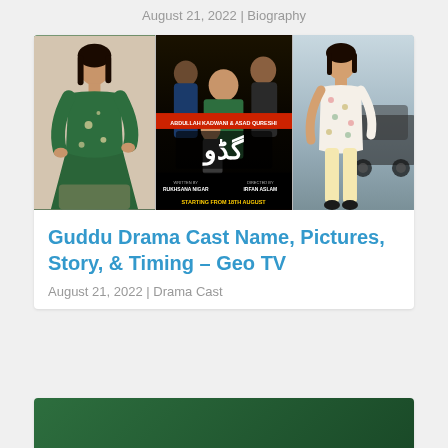August 21, 2022 | Biography
[Figure (photo): Three-panel image strip: left panel shows a woman in a green embroidered dress; center panel shows a drama poster for 'Guddu' featuring actors, written by Rukhsana Nigar, directed by Irfan Aslam, produced by Abdullah Kadwani & Asad Qureshi, starting from 18th August; right panel shows a girl in a floral dress standing near a car.]
Guddu Drama Cast Name, Pictures, Story, & Timing – Geo TV
August 21, 2022 | Drama Cast
[Figure (photo): Partial bottom card showing green background, likely another drama or article thumbnail.]